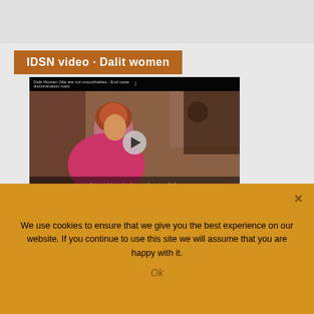IDSN video · Dalit women
[Figure (screenshot): Video thumbnail showing a Dalit woman in a pink shawl sitting indoors, with subtitle 'I want to study and get a job.' and a play button overlay. Title bar reads 'Dalit Women (We are not untouchables - End caste discrimination now)']
IDSN Intro video on Dalit women
We use cookies to ensure that we give you the best experience on our website. If you continue to use this site we will assume that you are happy with it.
Ok